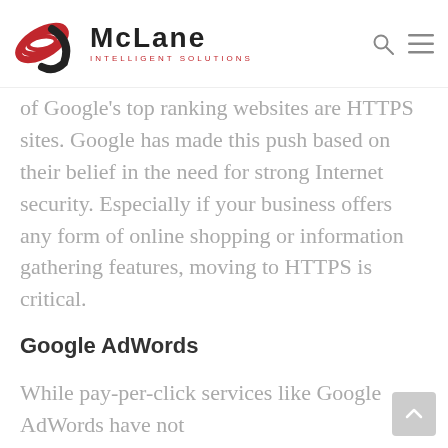McLane Intelligent Solutions
of Google's top ranking websites are HTTPS sites. Google has made this push based on their belief in the need for strong Internet security. Especially if your business offers any form of online shopping or information gathering features, moving to HTTPS is critical.
Google AdWords
While pay-per-click services like Google AdWords have not